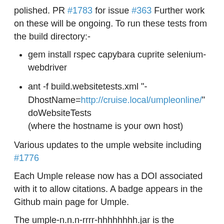polished. PR #1783 for issue #363 Further work on these will be ongoing. To run these tests from the build directory:-
gem install rspec capybara cuprite selenium-webdriver
ant -f build.websitetests.xml "-DhostName=http://cruise.local/umpleonline/" doWebsiteTests (where the hostname is your own host)
Various updates to the umple website including #1776
Each Umple release now has a DOI associated with it to allow citations. A badge appears in the Github main page for Umple.
The umple-n.n.n-rrrr-hhhhhhhh.jar is the command line compiler